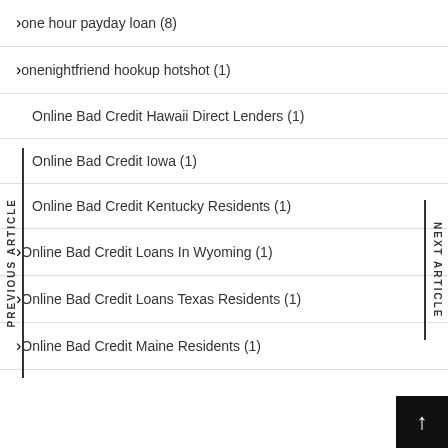one hour payday loan (8)
onenightfriend hookup hotshot (1)
Online Bad Credit Hawaii Direct Lenders (1)
Online Bad Credit Iowa (1)
Online Bad Credit Kentucky Residents (1)
Online Bad Credit Loans In Wyoming (1)
Online Bad Credit Loans Texas Residents (1)
Online Bad Credit Maine Residents (1)